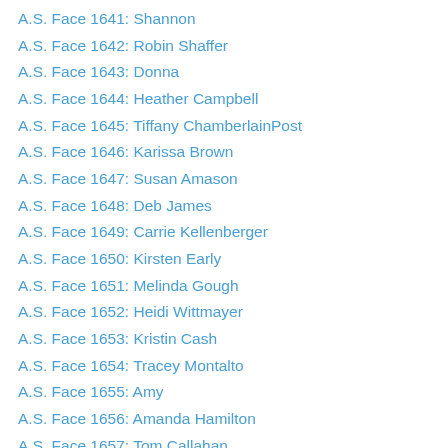A.S. Face 1641: Shannon
A.S. Face 1642: Robin Shaffer
A.S. Face 1643: Donna
A.S. Face 1644: Heather Campbell
A.S. Face 1645: Tiffany ChamberlainPost
A.S. Face 1646: Karissa Brown
A.S. Face 1647: Susan Amason
A.S. Face 1648: Deb James
A.S. Face 1649: Carrie Kellenberger
A.S. Face 1650: Kirsten Early
A.S. Face 1651: Melinda Gough
A.S. Face 1652: Heidi Wittmayer
A.S. Face 1653: Kristin Cash
A.S. Face 1654: Tracey Montalto
A.S. Face 1655: Amy
A.S. Face 1656: Amanda Hamilton
A.S. Face 1657: Tom Callahan
A.S. Face 1658: Mollie Caryll
A.S. Face 1659: Gordon
A.S. Face 1660: Jeff Mintz